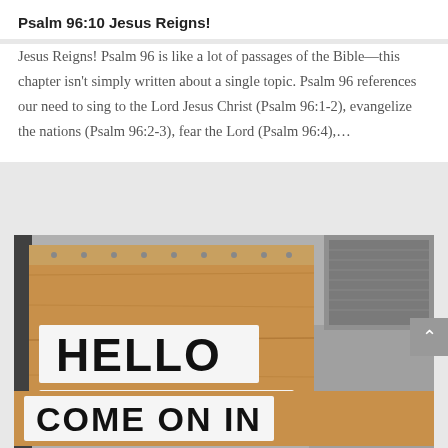Psalm 96:10 Jesus Reigns!
Jesus Reigns! Psalm 96 is like a lot of passages of the Bible—this chapter isn't simply written about a single topic. Psalm 96 references our need to sing to the Lord Jesus Christ (Psalm 96:1-2), evangelize the nations (Psalm 96:2-3), fear the Lord (Psalm 96:4),...
[Figure (photo): A wooden plywood sign with bold black text reading HELLO NEIGHBOR COME ON IN, mounted against a wall with driveway visible in the background.]